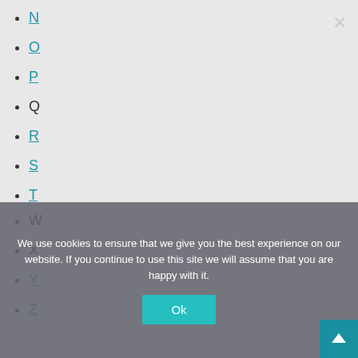N
O
P
Q
R
S
T
U
V
W
X
Y
Z
We use cookies to ensure that we give you the best experience on our website. If you continue to use this site we will assume that you are happy with it.